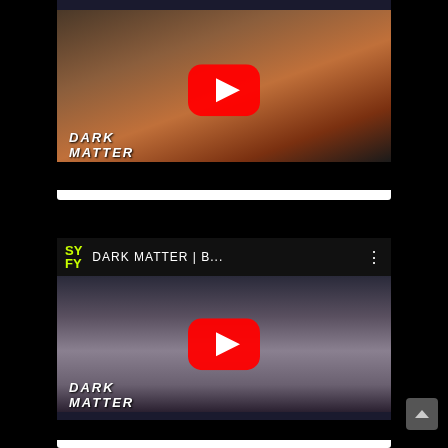[Figure (screenshot): YouTube video thumbnail for Dark Matter TV show - top card. Shows a woman in a red top sitting, with a YouTube play button overlay and 'DARK MATTER' watermark in bottom left. Dark bottom bar visible.]
[Figure (screenshot): YouTube video thumbnail for Dark Matter TV show - bottom card. Shows SYFY channel header bar with 'DARK MATTER | B...' title and menu dots. Woman with dark hair visible below, YouTube play button overlay, 'DARK MATTER' watermark in bottom left. Scroll-up arrow on right side.]